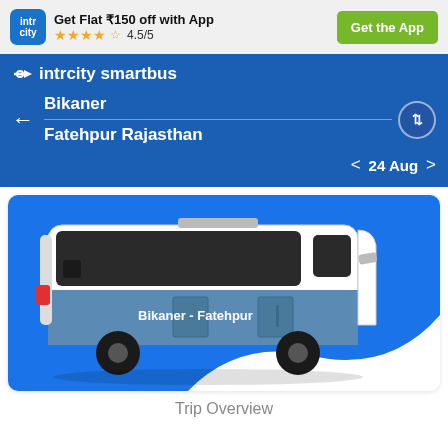[Figure (screenshot): IntrCity app top banner with logo, rating stars 4.5/5, and Get the App button]
[Figure (screenshot): IntrCity SmartBus navigation bar with route Bikaner to Fatehpur Rajasthan and date 24 Aug]
[Figure (illustration): Bus illustration on blue background with text Bikaner - Fatehpur on the side]
Trip Overview